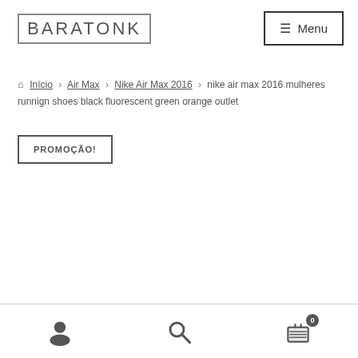BARATONK — Menu
🏠 Início › Air Max › Nike Air Max 2016 › nike air max 2016 mulheres runnign shoes black fluorescent green orange outlet
PROMOÇÃO!
User icon | Search icon | Cart (0)